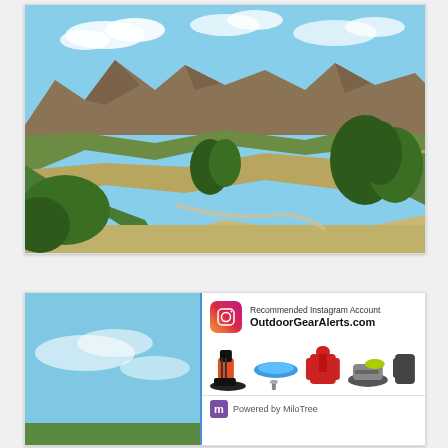[Figure (photo): Mountain landscape with rugged peaks, brown and green hillsides, trees, tall dry grass, blue sky with scattered clouds. A hiking trail visible in the foreground.]
[Figure (infographic): Bottom section showing blue sky photo on left, overlaid on right with a white panel showing Instagram recommendation for OutdoorGearAlerts.com with gear product images and Powered by MiloTree footer.]